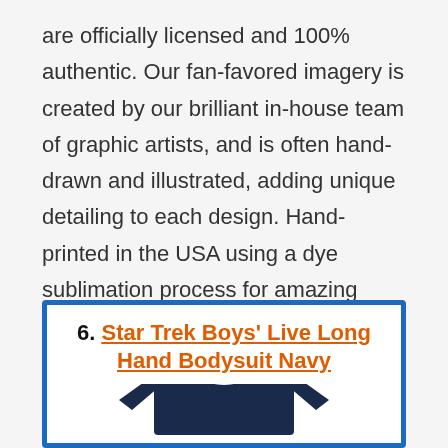are officially licensed and 100% authentic. Our fan-favored imagery is created by our brilliant in-house team of graphic artists, and is often hand-drawn and illustrated, adding unique detailing to each design. Hand-printed in the USA using a dye sublimation process for amazing color and long lasting vibrancy.
6. Star Trek Boys' Live Long Hand Bodysuit Navy
[Figure (photo): Navy blue long-sleeve bodysuit/t-shirt product image, partially visible at bottom of card]